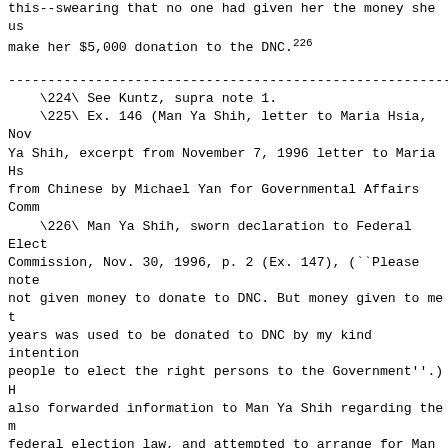this--swearing that no one had given her the money she us make her $5,000 donation to the DNC.226
\224\ See Kuntz, supra note 1.
\225\ Ex. 146 (Man Ya Shih, letter to Maria Hsia, Nov Ya Shih, excerpt from November 7, 1996 letter to Maria Hs from Chinese by Michael Yan for Governmental Affairs Comm
\226\ Man Ya Shih, sworn declaration to Federal Elect Commission, Nov. 30, 1996, p. 2 (Ex. 147), (``Please note not given money to donate to DNC. But money given to me t years was used to be donated to DNC by my kind intention people to elect the right persons to the Government''.) H also forwarded information to Man Ya Shih regarding the m federal election law, and attempted to arrange for Man Ya receive legal representation from Hsia's own lawyer, Jame See Ex. 148 (Progress Sheet from files of Hsia & Associat Man Ya Shih inquiry about election law, apparently on Nov Maria Hsia, fax transmission to Jim Robinson, Nov. 6, 199 ``Statement of Designation of Counsel'' signed by Man Ya DNC attempted to assess the scope of its illegal-donation late 1996 and early 1997, Hsia apparently helped a compan Matsunichi of America prepare a response to the DNC's que which it denied that its president, Pan Su Tong, had ever contributions to the DNC. At the time, however, Hsia poss photocopy of Pan's $5,000 check to the DNC on July 22, 19 of the bank statement showing that it had been cashed by 149 (Packet of materials forwarded to Matt Gorman by Mats America, including: check in name of Pan Su Tong signed b copy of bank statement for August 1996; draft letter deny contribution written on letterhead of Matsunichi of Amer